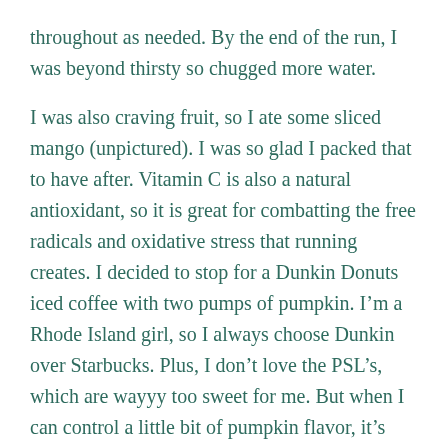throughout as needed. By the end of the run, I was beyond thirsty so chugged more water.
I was also craving fruit, so I ate some sliced mango (unpictured). I was so glad I packed that to have after. Vitamin C is also a natural antioxidant, so it is great for combatting the free radicals and oxidative stress that running creates. I decided to stop for a Dunkin Donuts iced coffee with two pumps of pumpkin. I’m a Rhode Island girl, so I always choose Dunkin over Starbucks. Plus, I don’t love the PSL’s, which are wayyy too sweet for me. But when I can control a little bit of pumpkin flavor, it’s delicious.